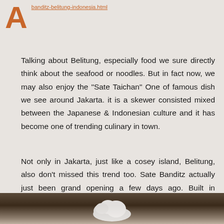banditz-belitung-indonesia.html (link text partially visible at top)
Talking about Belitung, especially food we sure directly think about the seafood or noodles. But in fact now, we may also enjoy the "Sate Taichan" One of famous dish we see around Jakarta. it is a skewer consisted mixed between the Japanese & Indonesian culture and it has become one of trending culinary in town.
Not only in Jakarta, just like a cosey island, Belitung, also don't missed this trend too. Sate Banditz actually just been grand opening a few days ago. Built in japanese concept with beautiful interior which is it couldn't resist us to take a picture.
[Figure (photo): Bottom portion of a photo showing dark interior elements with a white cloud/smoke graphic visible]